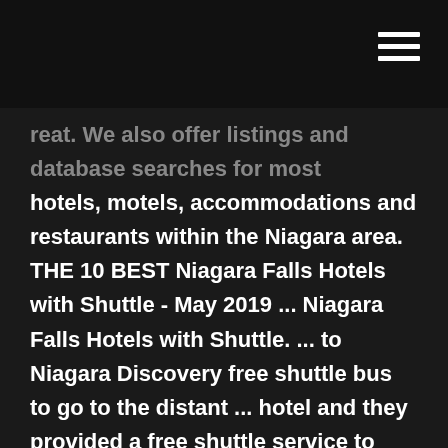[navigation bar with hamburger menu]
reat. We also offer listings and database searches for most hotels, motels, accommodations and restaurants within the Niagara area. THE 10 BEST Niagara Falls Hotels with Shuttle - May 2019 ... Niagara Falls Hotels with Shuttle. ... to Niagara Discovery free shuttle bus to go to the distant ... hotel and they provided a free shuttle service to casino. ... Casino Shuttle🚌🚌🚌🚌🚌🚌 » Safeway Tours Casino Shuttle Services We provide you with deluxe shuttle service to and from Fallsview Casino Resort at many convenient locations around the Greater Toronto Area. For details on our pickup locations and time, select a city or click on a pick-up location on the G.T.A map below to view our bus schedule. Discover Niagara Shuttle - Niagara Falls USA Discover Niagara Shuttle Park your car and experience Niagara's